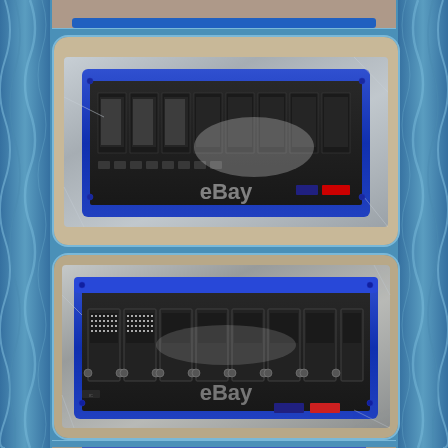[Figure (photo): eBay product listing page showing electronic circuit board/backplane with multiple connector slots (SCSI or similar), wrapped in anti-static plastic bag. Blue anodized aluminum frame. Top partial photo view.]
[Figure (photo): Full view of electronic circuit board/backplane with multiple parallel connector slots, wrapped in anti-static plastic sheeting, blue anodized aluminum frame. eBay watermark visible. Top-down angle.]
[Figure (photo): Front/side view of same electronic circuit board/backplane showing connector ports along the front edge, wrapped in anti-static plastic, blue anodized aluminum frame. eBay watermark visible. Bottom portion of listing photos.]